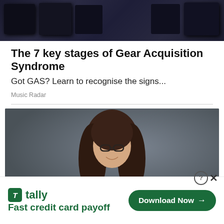[Figure (photo): Photo of music gear/amplifiers in a dark studio setting]
The 7 key stages of Gear Acquisition Syndrome
Got GAS? Learn to recognise the signs...
Music Radar
[Figure (photo): Professional headshot of a smiling woman with long brown hair and glasses, wearing a white blazer, against a dark gray background]
[Figure (other): Tally app advertisement banner: Fast credit card payoff, Download Now button]